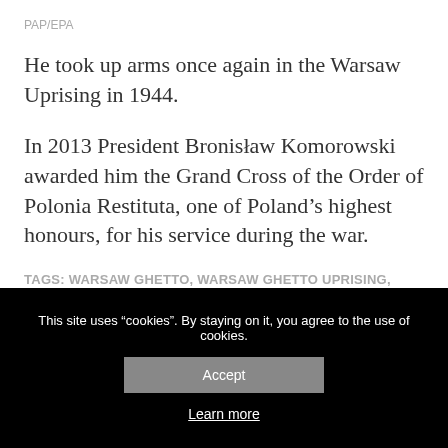PAP/EPA
He took up arms once again in the Warsaw Uprising in 1944.
In 2013 President Bronisław Komorowski awarded him the Grand Cross of the Order of Polonia Restituta, one of Poland's highest honours, for his service during the war.
TAGS: WARSAW GHETTO, WARSAW GHETTO UPRISING, SIMCHA ROTEM
This site uses "cookies". By staying on it, you agree to the use of cookies.
Accept
Learn more